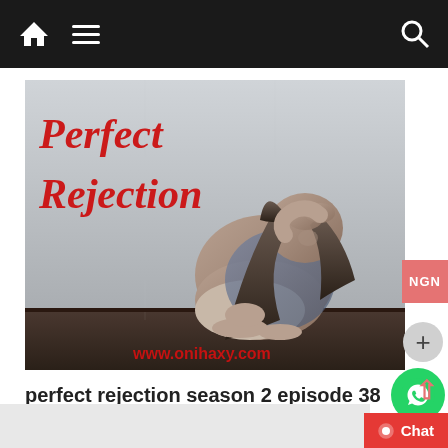Navigation bar with home, menu, and search icons
[Figure (photo): Book cover / blog post thumbnail image for 'Perfect Rejection' showing a woman sitting on the floor hugging her knees in distress, with red italic text 'Perfect Rejection' overlay and watermark www.onihaxy.com]
perfect rejection season 2 episode 38
December 2, 2017  onihaxymedia  0